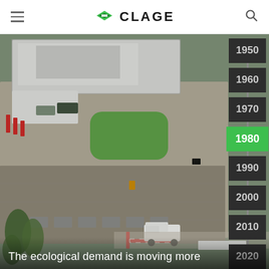CLAGE
[Figure (photo): Aerial view of the CLAGE company premises showing buildings, parking lot with cars, green lawn areas, and a delivery van at a barrier gate. A vertical timeline on the right side shows decades from 1950 to 2020, with 1980 highlighted in green.]
The ecological demand is moving more